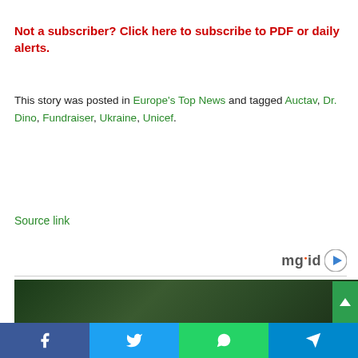Not a subscriber? Click here to subscribe to PDF or daily alerts.
This story was posted in Europe's Top News and tagged Auctav, Dr. Dino, Fundraiser, Ukraine, Unicef.
Source link
[Figure (logo): mgid logo with play button icon]
[Figure (photo): Dark green foliage background image partially visible]
Facebook | Twitter | WhatsApp | Telegram social sharing buttons